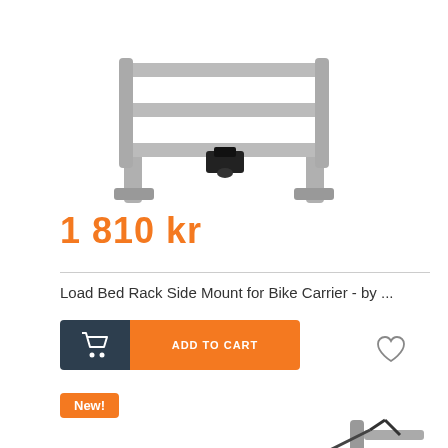[Figure (photo): Product photo of a bike carrier load bed rack side mount accessory on a rack frame, shown on white background]
1 810 kr
Load Bed Rack Side Mount for Bike Carrier - by ...
[Figure (other): Add to cart button with dark cart icon box and orange label box saying ADD TO CART, with heart/wishlist icon to the right]
New!
[Figure (photo): Product photo of a bicycle mounted on a bike carrier rack, showing road bike from the side]